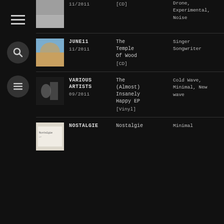[Figure (screenshot): Music catalogue listing on dark background with sidebar navigation icons and rows of album entries]
11/2011 [CD] Drone, Experimental, Noise
JUNE11 11/2011 The Temple Of Wood [CD] Singer Songwriter [79...]
VARIOUS ARTISTS 09/2011 The (Almost) Insanely Happy EP [Vinyl] Cold Wave, Minimal, New wave [87...]
NOSTALGIE Nostalgie Minimal [&...